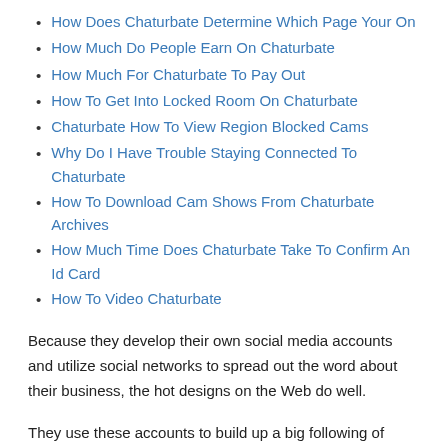How Does Chaturbate Determine Which Page Your On
How Much Do People Earn On Chaturbate
How Much For Chaturbate To Pay Out
How To Get Into Locked Room On Chaturbate
Chaturbate How To View Region Blocked Cams
Why Do I Have Trouble Staying Connected To Chaturbate
How To Download Cam Shows From Chaturbate Archives
How Much Time Does Chaturbate Take To Confirm An Id Card
How To Video Chaturbate
Because they develop their own social media accounts and utilize social networks to spread out the word about their business, the hot designs on the Web do well.
They use these accounts to build up a big following of fans.
The models, called broadcasters, may at first be inspired by